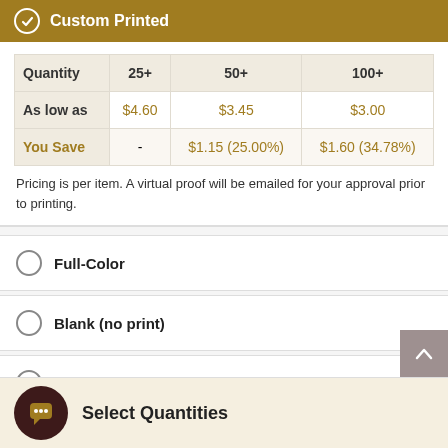Custom Printed
| Quantity | 25+ | 50+ | 100+ |
| --- | --- | --- | --- |
| As low as | $4.60 | $3.45 | $3.00 |
| You Save | - | $1.15 (25.00%) | $1.60 (34.78%) |
Pricing is per item. A virtual proof will be emailed for your approval prior to printing.
Full-Color
Blank (no print)
Sample
Select Quantities